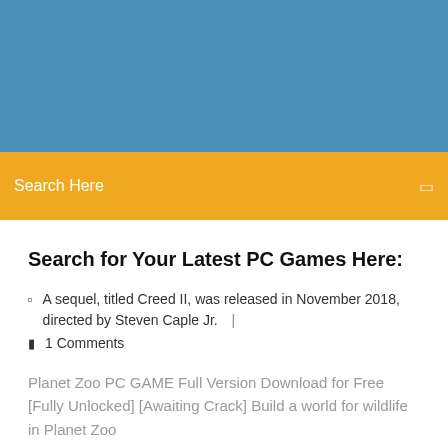[Figure (photo): Blue banner/hero image area at top of webpage]
Search Here
Search for Your Latest PC Games Here:
A sequel, titled Creed II, was released in November 2018, directed by Steven Caple Jr.  |  1 Comments
Planet Zoo PC GAME Full Version Download for Free [Fully Unlocked] [Awaiting Crack] Build a world for wildlife in Planet Zoo